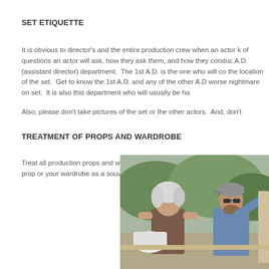SET ETIQUETTE
It is obvious to director's and the entire production crew when an actor k of questions an actor will ask, how they ask them, and how they conduc A.D. (assistant director) department.  The 1st A.D. is the one who will co the location of the set.  Get to know the 1st A.D. and any of the other A.D worse nightmare on set.  It is also this department who will usually be ha
Also, please don't take pictures of the set or the other actors.  And, don't
TREATMENT OF PROPS AND WARDROBE
Treat all production props and wardrobe with respect as you would like y have a prop or your wardrobe as a souvenir.  It will get back to the castir
[Figure (photo): Photo of two people on a film set: a woman with short white/gray hair wearing a brown tank top, and a man with a beard wearing a blue shirt and cap and sunglasses, outdoors with trees and hills in background.]